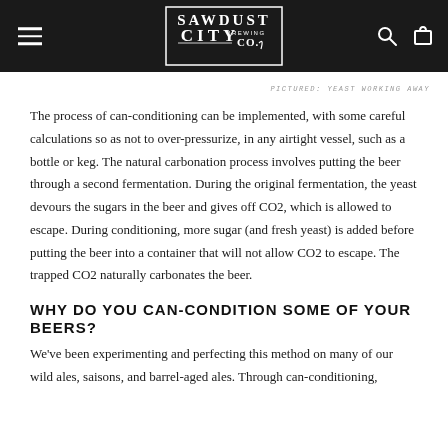Sawdust City Brewing Co. — website header navigation
PICTURED: YEAST WORKING AWAY
The process of can-conditioning can be implemented, with some careful calculations so as not to over-pressurize, in any airtight vessel, such as a bottle or keg. The natural carbonation process involves putting the beer through a second fermentation. During the original fermentation, the yeast devours the sugars in the beer and gives off CO2, which is allowed to escape. During conditioning, more sugar (and fresh yeast) is added before putting the beer into a container that will not allow CO2 to escape. The trapped CO2 naturally carbonates the beer.
WHY DO YOU CAN-CONDITION SOME OF YOUR BEERS?
We've been experimenting and perfecting this method on many of our wild ales, saisons, and barrel-aged ales. Through can-conditioning,